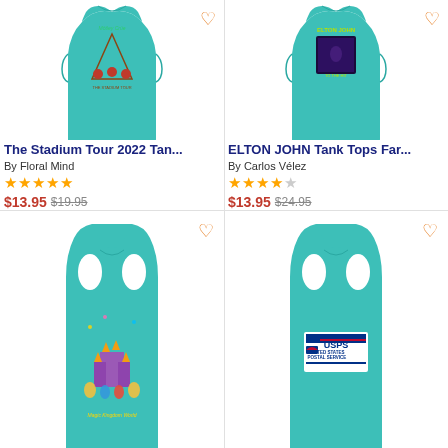[Figure (photo): Teal women's tank top with The Stadium Tour 2022 graphic (triangle design with roses and figures)]
The Stadium Tour 2022 Tan...
By Floral Mind
★★★★★
$13.95 $19.95
[Figure (photo): Teal women's tank top with Elton John graphic showing album art and 'ELTON JOHN' text]
ELTON JOHN Tank Tops Far...
By Carlos Vélez
★★★★☆
$13.95 $24.95
[Figure (photo): Teal women's racerback tank top with Walt Disney World castle and characters graphic]
[Figure (photo): Teal women's racerback tank top with USPS United States Postal Service logo]